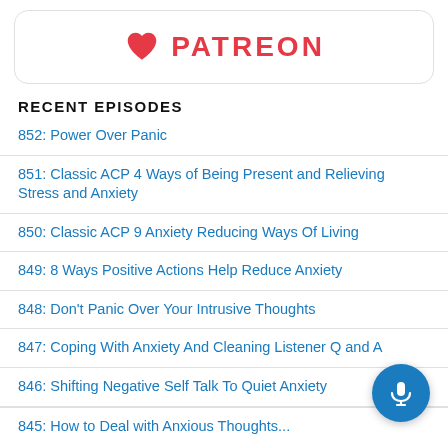[Figure (logo): Patreon logo with heart icon and PATREON wordmark inside a rounded rectangle border]
RECENT EPISODES
852: Power Over Panic
851: Classic ACP 4 Ways of Being Present and Relieving Stress and Anxiety
850: Classic ACP 9 Anxiety Reducing Ways Of Living
849: 8 Ways Positive Actions Help Reduce Anxiety
848: Don't Panic Over Your Intrusive Thoughts
847: Coping With Anxiety And Cleaning Listener Q and A
846: Shifting Negative Self Talk To Quiet Anxiety
845: How to Deal with Anxious Thoughts...